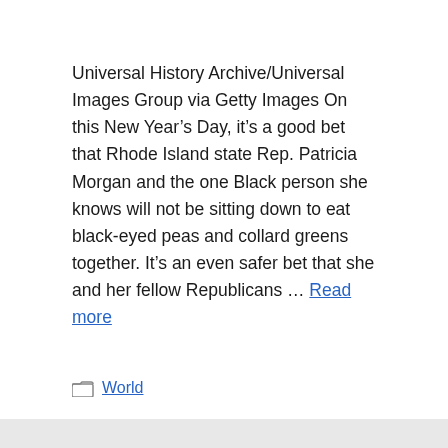Universal History Archive/Universal Images Group via Getty Images On this New Year's Day, it's a good bet that Rhode Island state Rep. Patricia Morgan and the one Black person she knows will not be sitting down to eat black-eyed peas and collard greens together. It's an even safer bet that she and her fellow Republicans … Read more
World
Michigan football